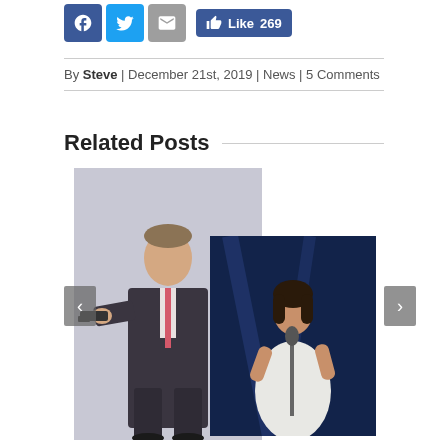[Figure (other): Social sharing buttons: Facebook (blue), Twitter (blue), Mail (grey), and a Facebook Like button showing 269 likes]
By Steve | December 21st, 2019 | News | 5 Comments
Related Posts
[Figure (photo): A man in a dark suit pointing a gun at the camera, James Bond style pose, light grey background]
[Figure (photo): A woman in a white dress performing at a microphone on a dark blue stage background]